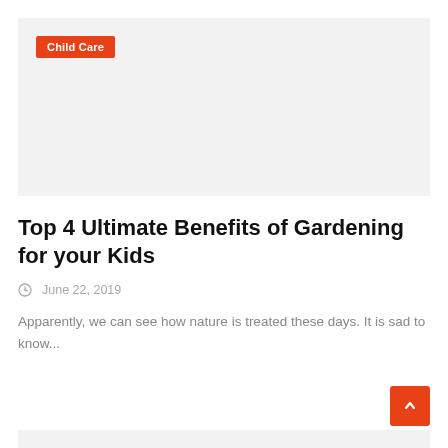[Figure (other): Light gray placeholder image area with an orange 'Child Care' badge in the top-left corner]
Top 4 Ultimate Benefits of Gardening for your Kids
June 22, 2019
Apparently, we can see how nature is treated these days. It is sad to know...